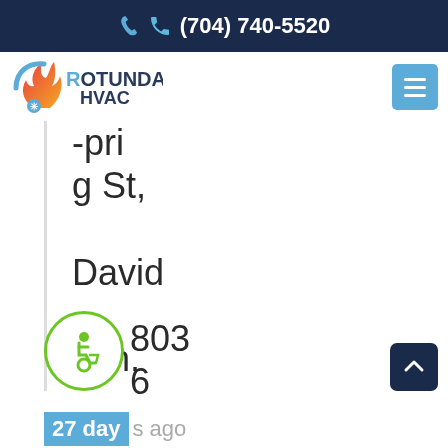(704) 740-5520
[Figure (logo): Rotunda HVAC logo with flame and snowflake]
g St, Davidson, NC
[Figure (illustration): Wheelchair accessibility icon in green circle]
803
6
27 days ago